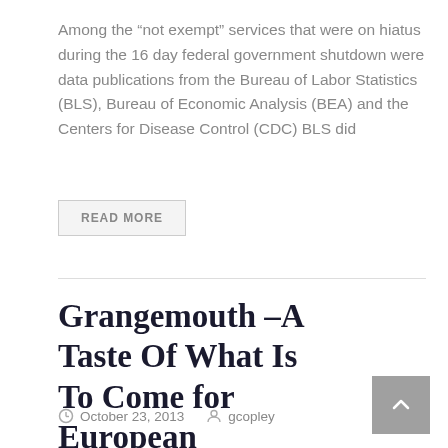Among the “not exempt” services that were on hiatus during the 16 day federal government shutdown were data publications from the Bureau of Labor Statistics (BLS), Bureau of Economic Analysis (BEA) and the Centers for Disease Control (CDC) BLS did
READ MORE
Grangemouth –A Taste Of What Is To Come for European Chemicals
October 23, 2013   gcopley